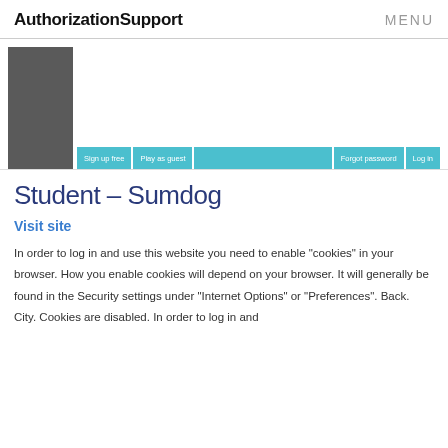AuthorizationSupport  MENU
[Figure (screenshot): Screenshot of Sumdog student login page showing a dark sidebar image, white main area, and a row of teal buttons: Sign up free, Play as guest, Forgot password, Log in]
Student – Sumdog
Visit site
In order to log in and use this website you need to enable "cookies" in your browser. How you enable cookies will depend on your browser. It will generally be found in the Security settings under "Internet Options" or "Preferences". Back. City. Cookies are disabled. In order to log in and